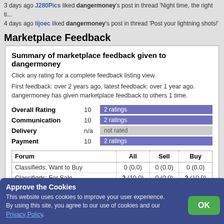3 days ago J280Pics liked dangermoney's post in thread 'Night time, the right ti...
4 days ago lijoec liked dangermoney's post in thread 'Post your lightning shots!'
Marketplace Feedback
Summary of marketplace feedback given to dangermoney
Click any rating for a complete feedback listing view.
First feedback: over 2 years ago, latest feedback: over 1 year ago.
dangermoney has given marketplace feedback to others 1 time.
|  |  | Overall Rating | 10 | 2 ratings |
| --- | --- | --- | --- | --- |
| Communication | 10 | 2 ratings |
| Delivery | n/a | not rated |
| Payment | 10 | 2 ratings |
| Forum | All | Sell | Buy |
| --- | --- | --- | --- |
| Classifieds: Want to Buy | 0 (0.0) | 0 (0.0) | 0 (0.0) |
| Classifieds: For Sale | 2 (10.0) | 0 (0.0) | 2 (10.0) |
| Classifieds: Services Offered | 0 (0.0) | 0 (0.0) | 0 (0.0) |
| Classifieds: Services Needed | 0 (0.0) | 0 (0.0) | 0 (0.0) |
Approve the Cookies
This website uses cookies to improve your user experience. By using this site, you agree to our use of cookies and our Privacy Policy.